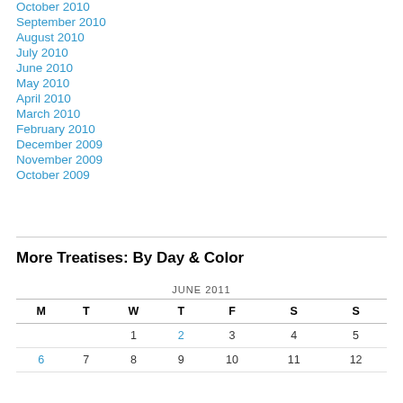October 2010
September 2010
August 2010
July 2010
June 2010
May 2010
April 2010
March 2010
February 2010
December 2009
November 2009
October 2009
More Treatises: By Day & Color
| M | T | W | T | F | S | S |
| --- | --- | --- | --- | --- | --- | --- |
|  |  | 1 | 2 | 3 | 4 | 5 |
| 6 | 7 | 8 | 9 | 10 | 11 | 12 |